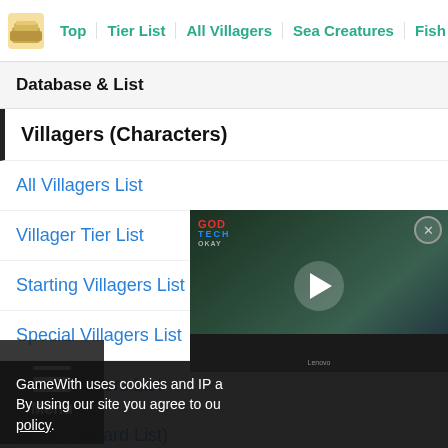Top | Tier List | All Villagers | Sea Creatures | Fish List
Database & List
Villagers (Characters)
All Villagers List
Villager Tier List
Starting Villagers List
Special Villagers List
Rare Villagers List
Wisp (Reward List)
GameWith uses cookies and IP a... By using our site you agree to ou... policy.